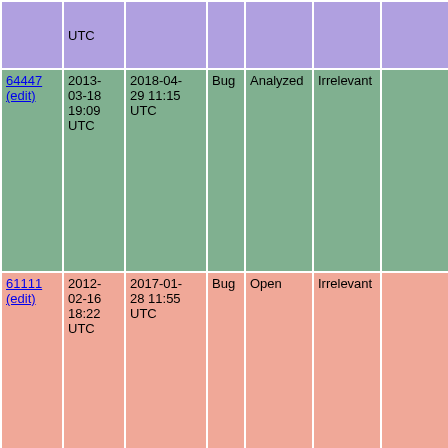| ID | Created | Modified | Type | Status | Version | OS | Summary |
| --- | --- | --- | --- | --- | --- | --- | --- |
|  | UTC |  |  |  |  |  | s... |
| 64447 (edit) | 2013-03-18 19:09 UTC | 2018-04-29 11:15 UTC | Bug | Analyzed | Irrelevant |  | Syntax hi is old |
| 61111 (edit) | 2012-02-16 18:22 UTC | 2017-01-28 11:55 UTC | Bug | Open | Irrelevant |  | CHM inde contain in directives |
| 66710 (edit) | 2014-02-13 19:02 UTC | 2016-12-08 09:43 UTC | Bug | Assigned | 5.5.9 | Windows | using phd.config not set all will error |
| 73446 (edit) | 2016-11-02 18:41 UTC | 2016-11-02 18:41 UTC | Bug | Open | Irrelevant | Irrelevant | docgen fa namespa extension |
| 72095 (edit) | 2016-04-24 13:44 UTC | 2016-04-25 14:04 UTC | Bug | Open | Irrelevant | Alpine Linux | Undefined constant GLOB_BR while doc- base/conf |
| 47423 (edit) | 2009-02-17 13:53 UTC | 2009-02-19 08:53 UTC | Bug | Verified | Irrelevant | Windows XP | CHM the partial re |